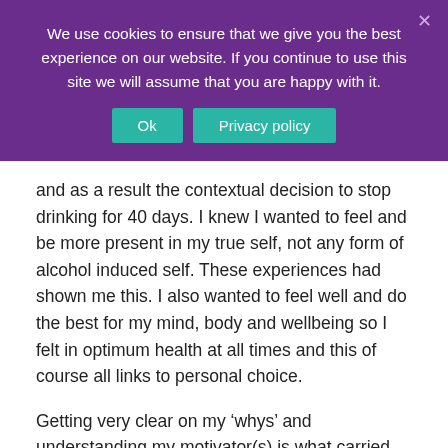We use cookies to ensure that we give you the best experience on our website. If you continue to use this site we will assume that you are happy with it.
and as a result the contextual decision to stop drinking for 40 days. I knew I wanted to feel and be more present in my true self, not any form of alcohol induced self. These experiences had shown me this. I also wanted to feel well and do the best for my mind, body and wellbeing so I felt in optimum health at all times and this of course all links to personal choice.
Getting very clear on my ‘whys’ and understanding my motivator(s) is what carried me through, particularly when I felt the urge to succumb to that juicy red with pasta or cave in to the cold, crisp glass